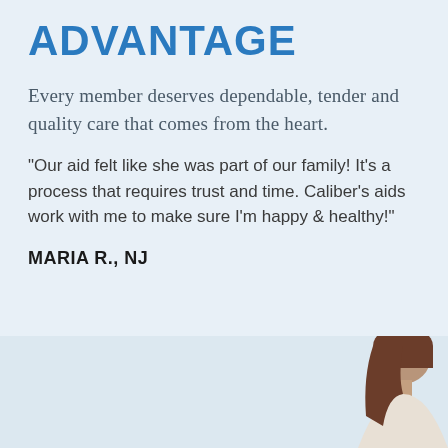ADVANTAGE
Every member deserves dependable, tender and quality care that comes from the heart.
"Our aid felt like she was part of our family! It's a process that requires trust and time. Caliber's aids work with me to make sure I'm happy & healthy!"
MARIA R., NJ
[Figure (photo): Partial photo of a person with brown hair visible at the bottom right of the page, against a light blue-gray background]